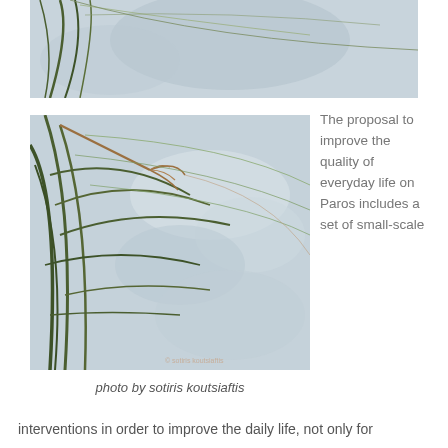[Figure (photo): Close-up photo of grass blades against a pale blue-grey cloudy sky, top portion cropped]
[Figure (photo): Close-up photo of grass blades and seed heads against a blurred pale blue-grey cloudy sky, with photographer watermark]
photo by sotiris koutsiaftis
The proposal to improve the quality of everyday life on Paros includes a set of small-scale
interventions in order to improve the daily life, not only for